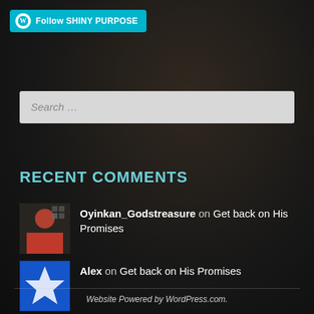[Figure (screenshot): WordPress Follow button with cyan background showing WordPress logo and text 'Follow SHINY PURPOSE']
Search ...
RECENT COMMENTS
Oyinkan_Godstreasure on Get back on His Promises
Alex on Get back on His Promises
Oyinkan_Godstreasure on Let Him be your "I AM...
Website Powered by WordPress.com.